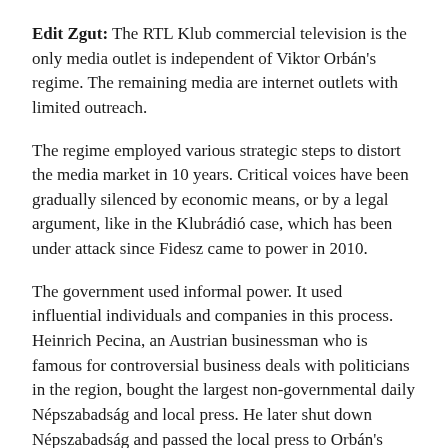Edit Zgut: The RTL Klub commercial television is the only media outlet is independent of Viktor Orbán's regime. The remaining media are internet outlets with limited outreach.
The regime employed various strategic steps to distort the media market in 10 years. Critical voices have been gradually silenced by economic means, or by a legal argument, like in the Klubrádió case, which has been under attack since Fidesz came to power in 2010.
The government used informal power. It used influential individuals and companies in this process. Heinrich Pecina, an Austrian businessman who is famous for controversial business deals with politicians in the region, bought the largest non-governmental daily Népszabadság and local press. He later shut down Népszabadság and passed the local press to Orbán's crony, Lőrinc Mészáros.